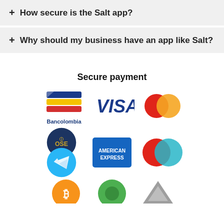+ How secure is the Salt app?
+ Why should my business have an app like Salt?
Secure payment
[Figure (logo): Payment logos: Bancolombia, VISA, Mastercard, OSE, Telegram, American Express, Mastercard variant, Bitcoin, green logo, triangle logo]
[Figure (logo): Row of additional payment/app logos partially visible at bottom]